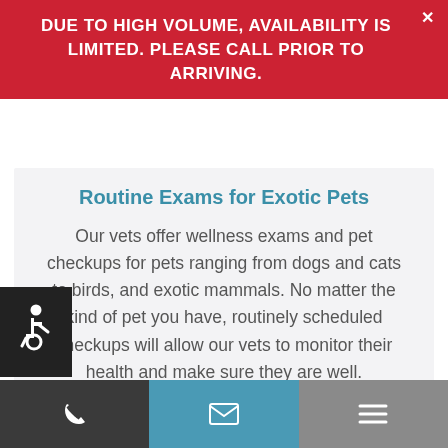DUE TO HIGH VOLUME, AVAILABILITY IS LIMITED. PLEASE CALL PRIOR TO ARRIVING.
Routine Exams for Exotic Pets
Our vets offer wellness exams and pet checkups for pets ranging from dogs and cats to birds, and exotic mammals. No matter the kind of pet you have, routinely scheduled checkups will allow our vets to monitor their health and make sure they are well.
[Figure (infographic): Accessibility wheelchair icon in white on dark background]
Phone | Email | Menu navigation icons